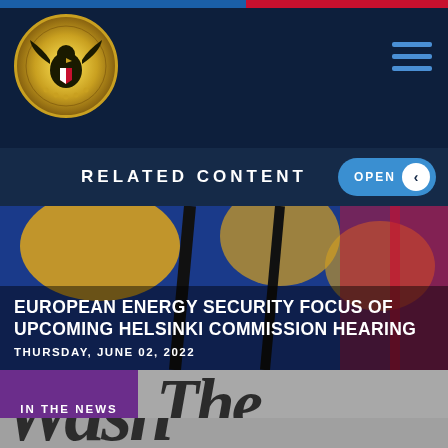[Figure (logo): Commission on Security and Cooperation in Europe seal/logo — golden eagle emblem on dark navy background, circular gold border]
RELATED CONTENT
[Figure (photo): Background photo of European flags (Swedish yellow and blue, Belgian black yellow red) with dark overlay; headline article photo]
EUROPEAN ENERGY SECURITY FOCUS OF UPCOMING HELSINKI COMMISSION HEARING
THURSDAY, JUNE 02, 2022
IN THE NEWS
[Figure (logo): The Washington Post masthead logo in black serif blackletter font on gray background, partially visible]